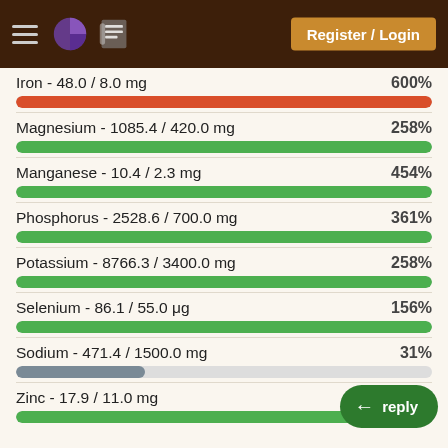Register / Login
Iron - 48.0 / 8.0 mg
[Figure (bar-chart): Red progress bar at 100% fill representing 600% of daily value]
Magnesium - 1085.4 / 420.0 mg
[Figure (bar-chart): Green progress bar at 100% fill representing 258% of daily value]
Manganese - 10.4 / 2.3 mg
[Figure (bar-chart): Green progress bar at 100% fill representing 454% of daily value]
Phosphorus - 2528.6 / 700.0 mg
[Figure (bar-chart): Green progress bar at 100% fill representing 361% of daily value]
Potassium - 8766.3 / 3400.0 mg
[Figure (bar-chart): Green progress bar at 100% fill representing 258% of daily value]
Selenium - 86.1 / 55.0 μg
[Figure (bar-chart): Green progress bar at 100% fill representing 156% of daily value]
Sodium - 471.4 / 1500.0 mg
[Figure (bar-chart): Gray progress bar at 31% fill representing 31% of daily value]
Zinc - 17.9 / 11.0 mg